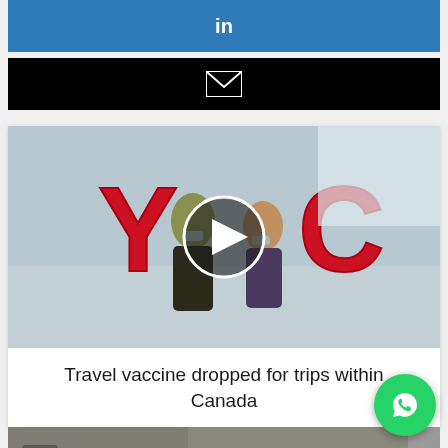[Figure (logo): LinkedIn share button — blue background with white 'in' logo]
[Figure (logo): Email share button — black background with white envelope icon]
[Figure (photo): Airport interior showing travelers wearing masks near large red YYC letters, with a circular play button overlay in the center]
Travel vaccine dropped for trips within Canada
[Figure (photo): Partial view of another article image showing an airport scene, with a back/left arrow button overlay]